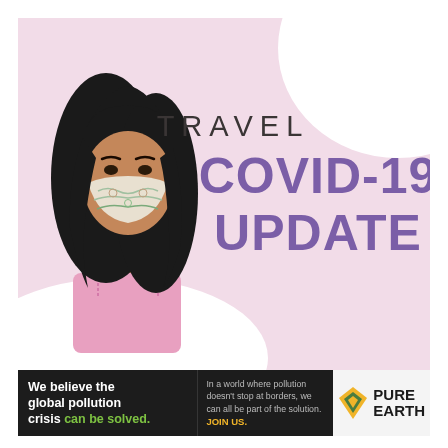[Figure (illustration): Travel COVID-19 Update graphic: pink background with white decorative blobs, illustrated woman wearing a floral face mask with dark hair and a pink top, bold purple text reading 'COVID-19 UPDATE' and lighter dark text reading 'TRAVEL' above it.]
[Figure (infographic): Bottom banner advertisement for Pure Earth organization: dark background left section with white bold text 'We believe the global pollution crisis can be solved.' (with 'can be solved' in green), middle section with small gray text 'In a world where pollution doesn't stop at borders, we can all be part of the solution. JOIN US.' (JOIN US in yellow), right section with Pure Earth logo (diamond/leaf icon in yellow/green and bold black text PURE EARTH).]